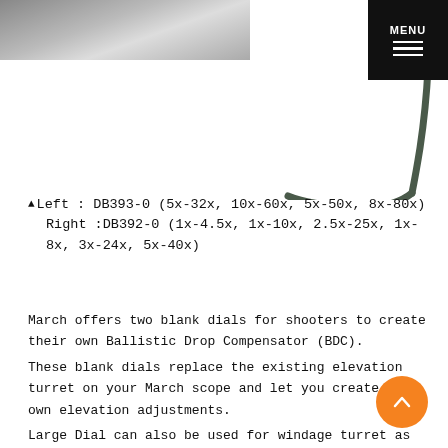[Figure (photo): Photo of two small scope dial/knob parts next to a coin for size reference, gray background]
[Figure (photo): Photo of an L-shaped Allen wrench / hex key tool against white background]
▲Left : DB393-0 (5x-32x, 10x-60x, 5x-50x, 8x-80x)
  Right :DB392-0 (1x-4.5x, 1x-10x, 2.5x-25x, 1x-8x, 3x-24x, 5x-40x)
March offers two blank dials for shooters to create their own Ballistic Drop Compensator (BDC).
These blank dials replace the existing elevation turret on your March scope and let you create your own elevation adjustments.
Large Dial can also be used for windage turret as well.
However if you use large dials on both elevation and windage turret, they may bump into each other.